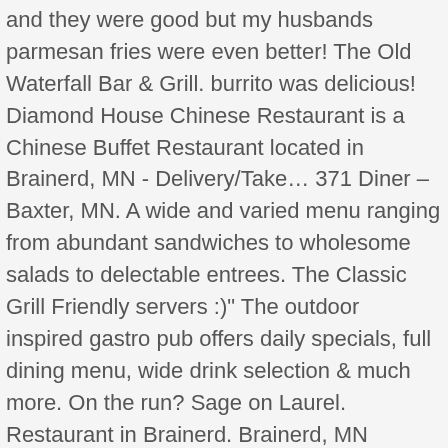and they were good but my husbands parmesan fries were even better! The Old Waterfall Bar & Grill. burrito was delicious! Diamond House Chinese Restaurant is a Chinese Buffet Restaurant located in Brainerd, MN - Delivery/Take… 371 Diner – Baxter, MN. A wide and varied menu ranging from abundant sandwiches to wholesome salads to delectable entrees. The Classic Grill Friendly servers :)" The outdoor inspired gastro pub offers daily specials, full dining menu, wide drink selection & much more. On the run? Sage on Laurel. Restaurant in Brainerd. Brainerd, MN Restaurant Guide. 19th Hole & Pool Deck It is set up similarly to a Chipotle or Subway in that you choose all the. See all Cru Restaurant & Wine Bar reviews, "We had awesome walleye fingers to start followed by really tasty entrees." "Walleye Cakes were AMAZING, and I